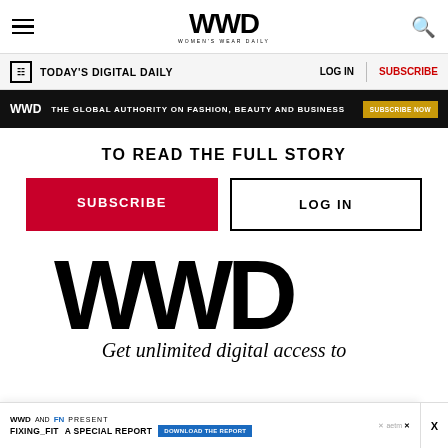WWD WOMEN'S WEAR DAILY
TODAY'S DIGITAL DAILY   LOG IN   SUBSCRIBE
WWD THE GLOBAL AUTHORITY ON FASHION, BEAUTY AND BUSINESS SUBSCRIBE NOW
TO READ THE FULL STORY
SUBSCRIBE
LOG IN
[Figure (logo): Large WWD (Women's Wear Daily) wordmark logo in bold black]
Get unlimited digital access to
WWD AND FN PRESENT FIXING_FIT A SPECIAL REPORT DOWNLOAD THE REPORT